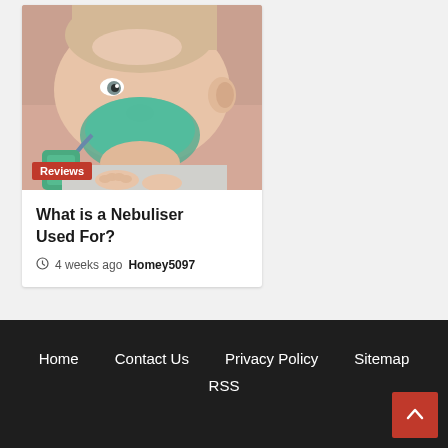[Figure (photo): A baby/infant wearing a nebuliser oxygen mask, photographed close-up.]
What is a Nebuliser Used For?
4 weeks ago  Homey5097
Home   Contact Us   Privacy Policy   Sitemap   RSS